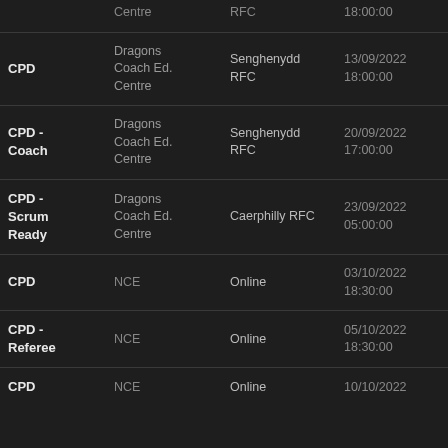| Type | Organisation | Venue | Date/Time | Price | Status |
| --- | --- | --- | --- | --- | --- |
| CPD | Dragons Coach Ed. Centre | RFC | 18:00:00 |  | N |
| CPD | Dragons Coach Ed. Centre | Senghenydd RFC | 13/09/2022 18:00:00 | £0.00 | B
N |
| CPD - Coach | Dragons Coach Ed. Centre | Senghenydd RFC | 20/09/2022 17:00:00 | £0.00 | B
N |
| CPD - Scrum Ready | Dragons Coach Ed. Centre | Caerphilly RFC | 23/09/2022 05:00:00 | £0.00 | B
N |
| CPD | NCE | Online | 03/10/2022 18:30:00 | £0.00 | B
N |
| CPD - Referee | NCE | Online | 05/10/2022 18:30:00 | £0.00 | B
N |
| CPD | NCE | Online | 10/10/2022 | £0.00 | B |